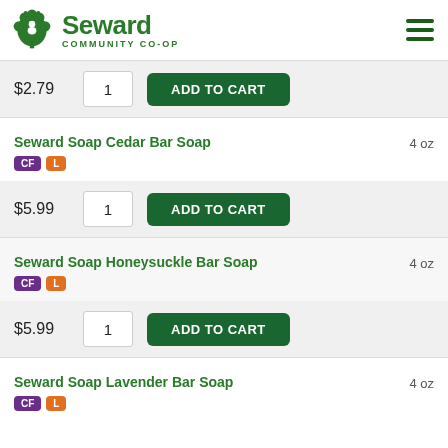Seward Community Co-op
$2.79 — 1 — ADD TO CART
Seward Soap Cedar Bar Soap — 4 oz — CF L
$5.99 — 1 — ADD TO CART
Seward Soap Honeysuckle Bar Soap — 4 oz — CF L
$5.99 — 1 — ADD TO CART
Seward Soap Lavender Bar Soap — 4 oz — CF L